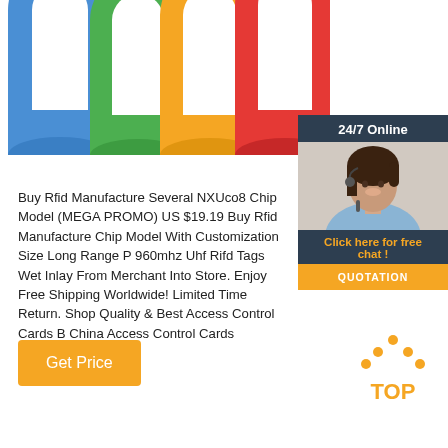[Figure (photo): Colorful RFID silicone wristbands in blue, green, orange, and red arranged in a row, partially cropped at top]
[Figure (infographic): 24/7 Online chat widget with customer service agent photo, orange 'Click here for free chat!' text and QUOTATION button]
Buy Rfid Manufacture Several NXUco8 Chip Model (MEGA PROMO) US $19.19 Buy Rfid Manufacture Chip Model With Customization Size Long Range P 960mhz Uhf Rifd Tags Wet Inlay From Merchant Into Store. Enjoy Free Shipping Worldwide! Limited Time Return. Shop Quality & Best Access Control Cards B China Access Control Cards Suppliers.
Get Price
[Figure (logo): TOP logo with orange triangle/arrows pointing up and orange text 'TOP']